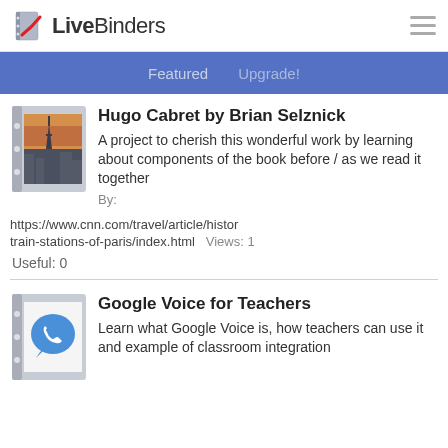LiveBinders
Featured   Upgrade!
[Figure (photo): Thumbnail binder image showing aerial view of Paris with Eiffel Tower at sunset]
Hugo Cabret by Brian Selznick
A project to cherish this wonderful work by learning about components of the book before / as we read it together
By:
https://www.cnn.com/travel/article/histor
train-stations-of-paris/index.html   Views: 1
Useful: 0
[Figure (illustration): Thumbnail binder image showing Google Voice phone icon in speech bubble]
Google Voice for Teachers
Learn what Google Voice is, how teachers can use it and example of classroom integration